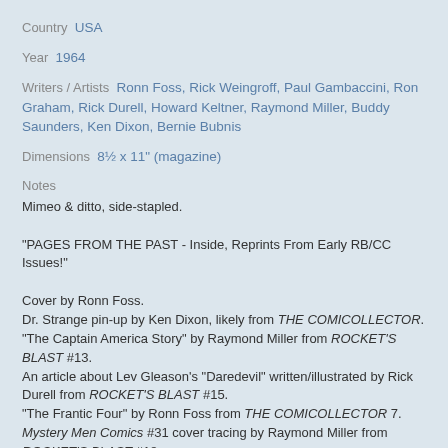Country  USA
Year  1964
Writers / Artists  Ronn Foss, Rick Weingroff, Paul Gambaccini, Ron Graham, Rick Durell, Howard Keltner, Raymond Miller, Buddy Saunders, Ken Dixon, Bernie Bubnis
Dimensions  8½ x 11" (magazine)
Notes
Mimeo & ditto, side-stapled.

"PAGES FROM THE PAST - Inside, Reprints From Early RB/CC Issues!"

Cover by Ronn Foss.
Dr. Strange pin-up by Ken Dixon, likely from THE COMICOLLECTOR.
"The Captain America Story" by Raymond Miller from ROCKET'S BLAST #13.
An article about Lev Gleason's "Daredevil" written/illustrated by Rick Durell from ROCKET'S BLAST #15.
"The Frantic Four" by Ronn Foss from THE COMICOLLECTOR 7.
Mystery Men Comics #31 cover tracing by Raymond Miller from ROCKET'S BLAST #18.
Thrilling Comics #22 tracing by Raymond Miller from ROCKET'S BLAST #27.
Green Lama Pin-Up by Raymond Miller from ROCKET'S BLAST #20.